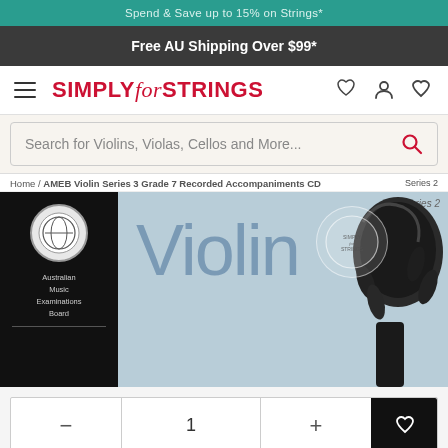Spend & Save up to 15% on Strings*
Free AU Shipping Over $99*
[Figure (logo): Simply for Strings logo with hamburger menu and navigation icons]
Search for Violins, Violas, Cellos and More...
Home / AMEB Violin Series 3 Grade 7 Recorded Accompaniments CD Series 2
[Figure (photo): AMEB Violin Series 3 product cover showing violin scroll image with Australian Music Examinations Board logo on dark left panel and large 'Violin' text on blue-grey background]
1
ADD TO CART